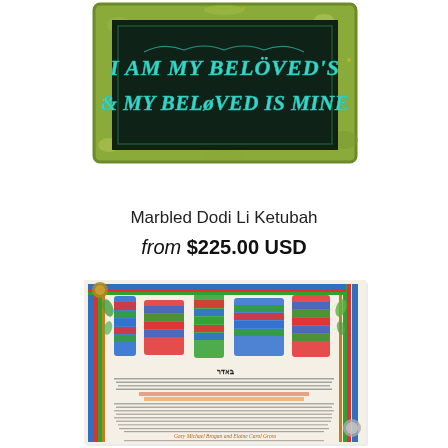[Figure (photo): Photo of a decorative stone/ceramic plaque with green marbled border and dark background. Text reads 'I AM MY BELOVED'S & MY BELOVED IS MINE' in teal/blue stylized lettering. Watermark text 'Kolbo Fine Judaica Gallery' overlaid in white.]
Marbled Dodi Li Ketubah
from $225.00 USD
[Figure (photo): Photo of a Ketubah (Jewish marriage contract) with colorful Hebrew calligraphy in blue, red, green and multi-colored stripes for the large decorative letters. The document has ornate border decorations and contains Hebrew text along with English text at the bottom including names 'Gary Michael Brogan and Elaine Carol Gross'.]